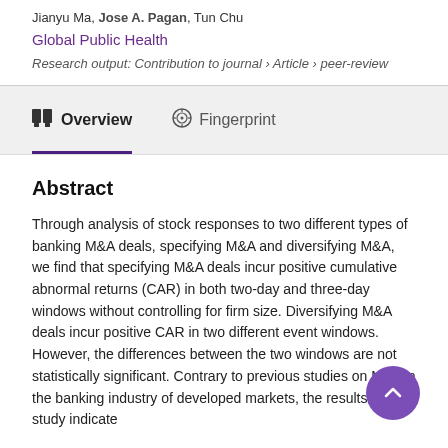Jianyu Ma, Jose A. Pagan, Tun Chu
Global Public Health
Research output: Contribution to journal › Article › peer-review
Overview
Fingerprint
Abstract
Through analysis of stock responses to two different types of banking M&A deals, specifying M&A and diversifying M&A, we find that specifying M&A deals incur positive cumulative abnormal returns (CAR) in both two-day and three-day windows without controlling for firm size. Diversifying M&A deals incur positive CAR in two different event windows. However, the differences between the two windows are not statistically significant. Contrary to previous studies on M&A in the banking industry of developed markets, the results of our study indicate